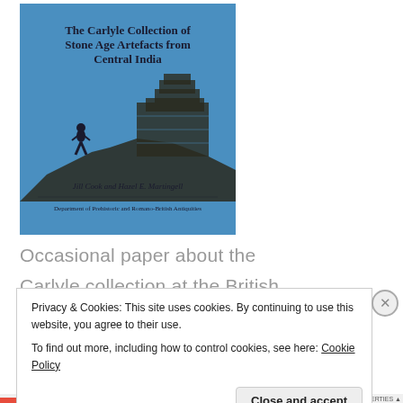[Figure (illustration): Blue book cover titled 'The Carlyle Collection of Stone Age Artefacts from Central India' by Jill Cook and Hazel E. Martingell, published by Department of Prehistoric and Romano-British Antiquities. Shows a silhouette of a person standing on a hillside with rocky terrain.]
Occasional paper about the
Carlyle collection at the British
Privacy & Cookies: This site uses cookies. By continuing to use this website, you agree to their use.
To find out more, including how to control cookies, see here: Cookie Policy
Close and accept